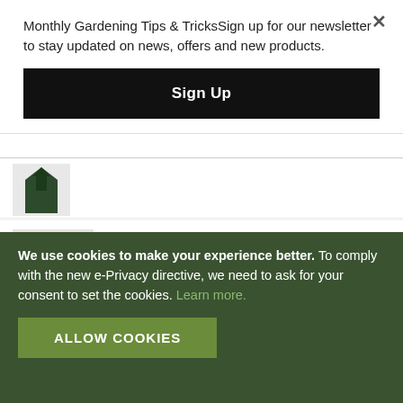Monthly Gardening Tips & TricksSign up for our newsletter to stay updated on news, offers and new products.
Sign Up
[Figure (photo): Partial view of a dark green plant frost protector jacket shape at the top]
[Figure (photo): Person placing a beige frost protector jacket over a potted red flowering plant]
Small Plant Frost Protector Jack...
£8.99 Incl. VAT
[Figure (photo): Black garden netting with square mesh pattern]
20mm Black General-Purpose G...
We use cookies to make your experience better. To comply with the new e-Privacy directive, we need to ask for your consent to set the cookies. Learn more.
ALLOW COOKIES